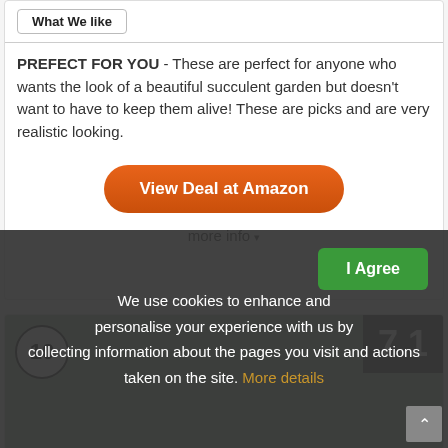What We like
PREFECT FOR YOU - These are perfect for anyone who wants the look of a beautiful succulent garden but doesn't want to have to keep them alive! These are picks and are very realistic looking.
View Deal at Amazon
more info ▾
[Figure (photo): Product listing card showing rank 10 badge, score 7.1, and plant/succulent image in background]
We use cookies to enhance and personalise your experience with us by collecting information about the pages you visit and actions taken on the site. More details
I Agree